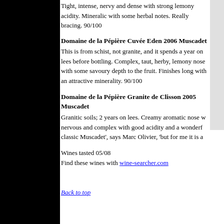Tight, intense, nervy and dense with strong lemony acidity. Mineralic with some herbal notes. Really bracing. 90/100
Domaine de la Pépière Cuvée Eden 2006 Muscadet
This is from schist, not granite, and it spends a year on lees before bottling. Complex, taut, herby, lemony nose with some savoury depth to the fruit. Finishes long with an attractive minerality. 90/100
Domaine de la Pépière Granite de Clisson 2005 Muscadet
Granitic soils; 2 years on lees. Creamy aromatic nose w nervous and complex with good acidity and a wonderf classic Muscadet', says Marc Olivier, 'but for me it is a
Wines tasted 05/08
Find these wines with wine-searcher.com
Back to top